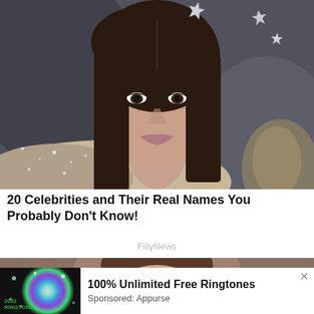[Figure (photo): Close-up photo of a brunette woman with star hair accessories, wearing an embellished silver/beige top, looking slightly to the side. Dark background.]
20 Celebrities and Their Real Names You Probably Don't Know!
FillyNews
[Figure (photo): Partial photo of another person, cropped, visible at bottom of page behind an ad overlay.]
[Figure (infographic): Advertisement banner with colorful starburst graphic on left side labeled '2022 RINGTONE'. Text reads: '100% Unlimited Free Ringtones. Sponsored: Appurse']
100% Unlimited Free Ringtones
Sponsored: Appurse